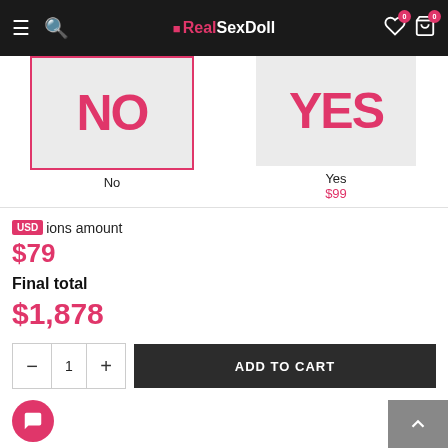RealSexDoll
[Figure (screenshot): Two option buttons showing NO (selected with pink border) and YES for product customization]
No
Yes
$99
USD ions amount
$79
Final total
$1,878
ADD TO CART